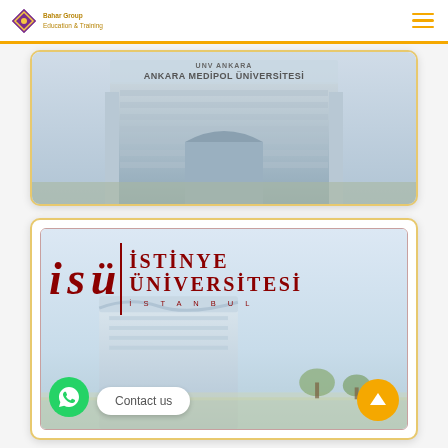Bahar Group navigation header
[Figure (photo): Ankara Medipol Üniversitesi building exterior photo with text overlay]
[Figure (photo): İstinye Üniversitesi İstanbul logo and campus building photo with contact us button and WhatsApp icon]